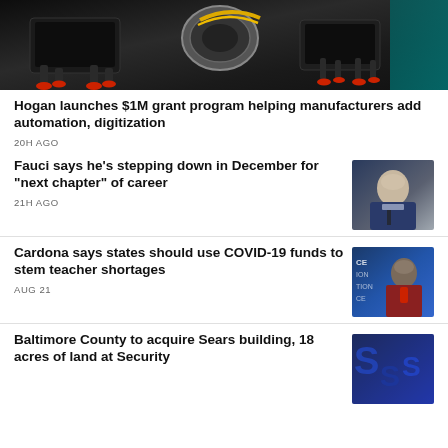[Figure (photo): Robotic machines on a dark industrial surface]
Hogan launches $1M grant program helping manufacturers add automation, digitization
20H AGO
Fauci says he's stepping down in December for "next chapter" of career
21H AGO
[Figure (photo): Portrait of Anthony Fauci speaking at a podium]
Cardona says states should use COVID-19 funds to stem teacher shortages
AUG 21
[Figure (photo): Miguel Cardona speaking in front of blue backdrop]
Baltimore County to acquire Sears building, 18 acres of land at Security
[Figure (photo): Blue Sears signage]